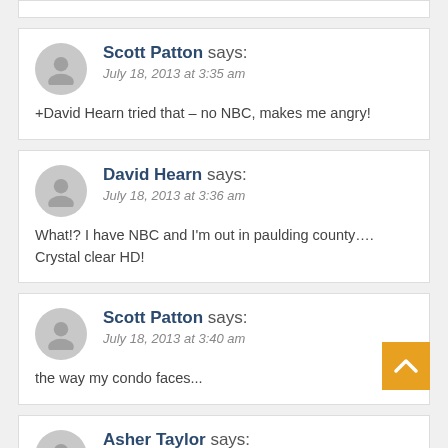Scott Patton says: July 18, 2013 at 3:35 am
+David Hearn tried that – no NBC, makes me angry!
David Hearn says: July 18, 2013 at 3:36 am
What!? I have NBC and I'm out in paulding county.... Crystal clear HD!
Scott Patton says: July 18, 2013 at 3:40 am
the way my condo faces...
Asher Taylor says: